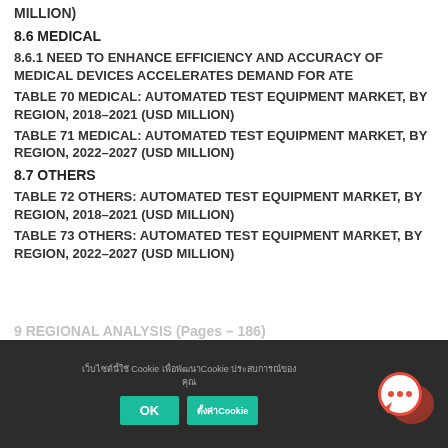MILLION)
8.6 MEDICAL
8.6.1 NEED TO ENHANCE EFFICIENCY AND ACCURACY OF MEDICAL DEVICES ACCELERATES DEMAND FOR ATE
TABLE 70 MEDICAL: AUTOMATED TEST EQUIPMENT MARKET, BY REGION, 2018–2021 (USD MILLION)
TABLE 71 MEDICAL: AUTOMATED TEST EQUIPMENT MARKET, BY REGION, 2022–2027 (USD MILLION)
8.7 OTHERS
TABLE 72 OTHERS: AUTOMATED TEST EQUIPMENT MARKET, BY REGION, 2018–2021 (USD MILLION)
TABLE 73 OTHERS: AUTOMATED TEST EQUIPMENT MARKET, BY REGION, 2022–2027 (USD MILLION)
9 REGIONAL ANALYSIS (Pages – 186)